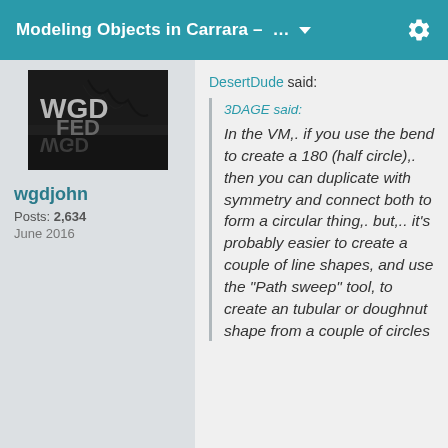Modeling Objects in Carrara – …
[Figure (photo): User avatar image for wgdjohn, dark image with text letters WGD on a reflective surface with a tree branch]
wgdjohn
Posts: 2,634
June 2016
DesertDude said:
3DAGE said: In the VM,. if you use the bend to create a 180 (half circle),. then you can duplicate with symmetry and connect both to form a circular thing,. but,.. it's probably easier to create a couple of line shapes, and use the "Path sweep" tool, to create an tubular or doughnut shape from a couple of circles